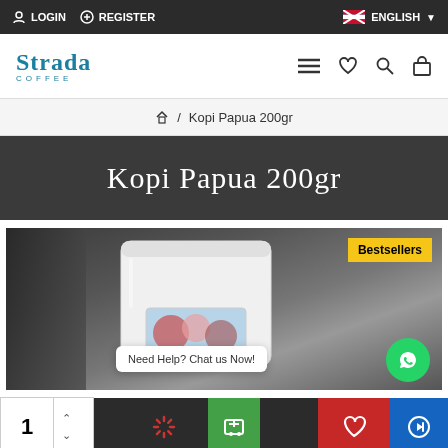LOGIN   REGISTER   ENGLISH
[Figure (logo): Strada Coffee logo in teal/blue with serif font]
🏠 / Kopi Papua 200gr
Kopi Papua 200gr
[Figure (photo): White coffee bag product image on dark background with Bestsellers badge and WhatsApp chat button]
Need Help? Chat us Now!
1 [quantity selector] [action icons]